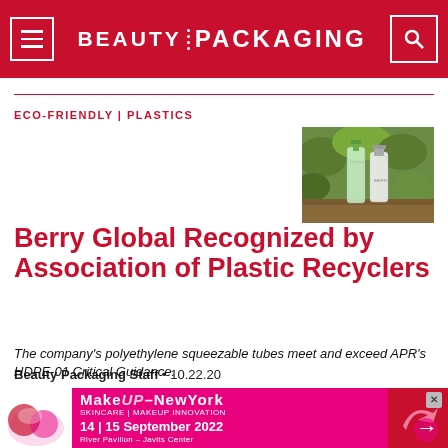BEAUTY PACKAGING
ECO-FRIENDLY | PLASTICS
[Figure (photo): Two plastic squeezable tubes standing outdoors with green foliage background]
Berry Global Recognized by Association of Plastic Recyclers
The company's polyethylene squeezable tubes meet and exceed APR's HDPE-01 Critical Guidance.
Beauty Packaging Staff  •  10.22.20
[Figure (infographic): MakeUp-NewYork advertisement banner: 14|15 September 2022, River Pavilion – Javits Center]